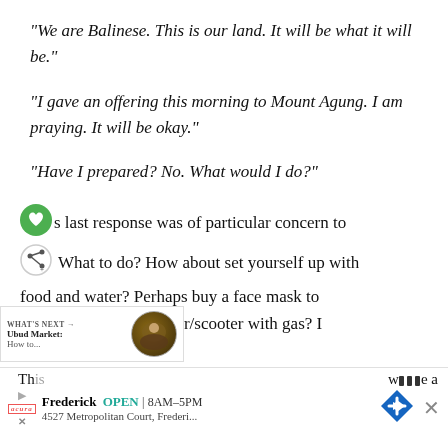“We are Balinese. This is our land. It will be what it will be.”
“I gave an offering this morning to Mount Agung. I am praying. It will be okay.”
“Have I prepared? No. What would I do?”
[This] last response was of particular concern to [me]. What to do? How about set yourself up with food and water? Perhaps buy a face mask to [breathe]? Fill up your car/scooter with gas? I dunno....something?
[Figure (screenshot): Social media UI overlay with green heart like button and grey share button]
[Figure (infographic): What's Next bar with Ubud Market: How to... label and circular avatar thumbnail]
[Figure (screenshot): Advertisement bar: Frederick OPEN 8AM-5PM, 4527 Metropolitan Court, Frederi... with Acura logo, navigation icon, and close X]